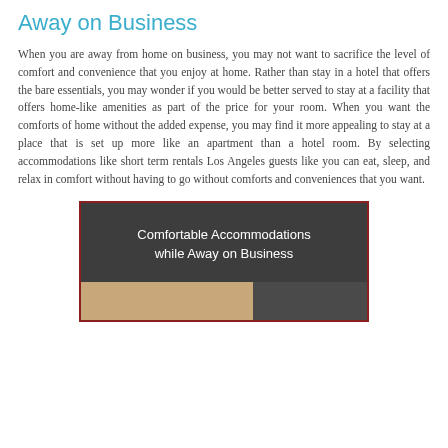Away on Business
When you are away from home on business, you may not want to sacrifice the level of comfort and convenience that you enjoy at home. Rather than stay in a hotel that offers the bare essentials, you may wonder if you would be better served to stay at a facility that offers home-like amenities as part of the price for your room. When you want the comforts of home without the added expense, you may find it more appealing to stay at a place that is set up more like an apartment than a hotel room. By selecting accommodations like short term rentals Los Angeles guests like you can eat, sleep, and relax in comfort without having to go without comforts and conveniences that you want.
[Figure (photo): Dark gray box with white text reading 'Comfortable Accommodations while Away on Business' with a partial photo below showing a tan/beige surface on the left and dark area on the right]